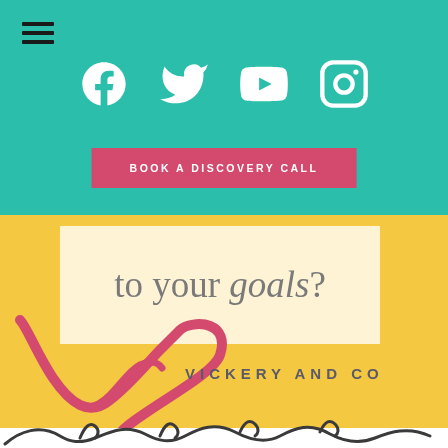[Figure (screenshot): Teal navigation bar with hamburger menu icon in top left]
[Figure (infographic): Social media icons for Facebook, Twitter, YouTube, and Instagram in white on teal background]
BOOK A DISCOVERY CALL
to your goals?
[Figure (logo): Vickery and Co logo with decorative cursive V in pink/red and text VICKERY AND CO in grey]
VICKERY AND CO
[Figure (illustration): Partial cursive handwriting text at the bottom of the page]